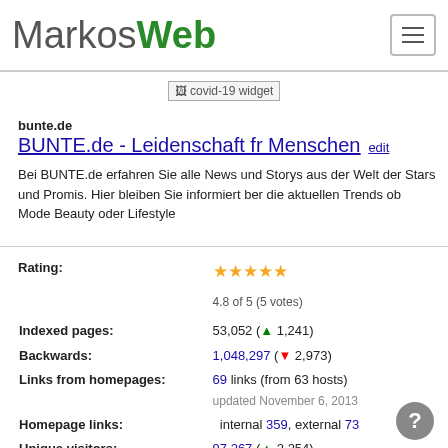MarkosWeb
[Figure (other): covid-19 widget placeholder image]
bunte.de
BUNTE.de - Leidenschaft fr Menschen  edit
Bei BUNTE.de erfahren Sie alle News und Storys aus der Welt der Stars und Promis. Hier bleiben Sie informiert ber die aktuellen Trends ob Mode Beauty oder Lifestyle
| Rating: | 4.8 of 5 (5 votes) |
| Indexed pages: | 53,052 (▲ 1,241) |
| Backwards: | 1,048,297 (▼ 2,973) |
| Links from homepages: | 69 links (from 63 hosts)
updated November 6, 2013 |
| Homepage links: | internal 359, external 73 |
| Unique visitors: | 97,267 (▲ 2,254)
diff as of July 1, 2013 |
| Snapshot history: | 39 available via snapshot tool |